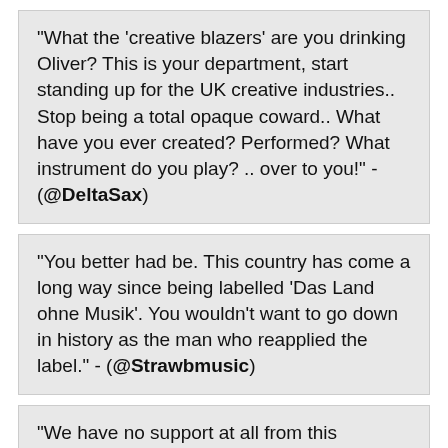"What the ‘creative blazers’ are you drinking Oliver? This is your department, start standing up for the UK creative industries.. Stop being a total opaque coward.. What have you ever created? Performed? What instrument do you play? .. over to you!" - (@DeltaSax)
"You better had be. This country has come a long way since being labelled 'Das Land ohne Musik'. You wouldn't want to go down in history as the man who reapplied the label." - (@Strawbmusic)
"We have no support at all from this government that offers only obstacles. On top of that you have ended freedom of movement that cuts us off from the culturally superior EU countries where there is